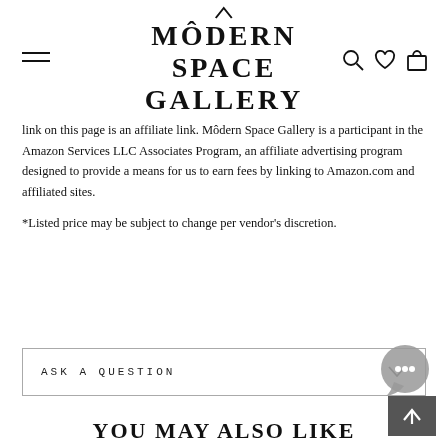MÔDERN SPACE GALLERY
link on this page is an affiliate link. Môdern Space Gallery is a participant in the Amazon Services LLC Associates Program, an affiliate advertising program designed to provide a means for us to earn fees by linking to Amazon.com and affiliated sites.
*Listed price may be subject to change per vendor's discretion.
ASK A QUESTION
YOU MAY ALSO LIKE